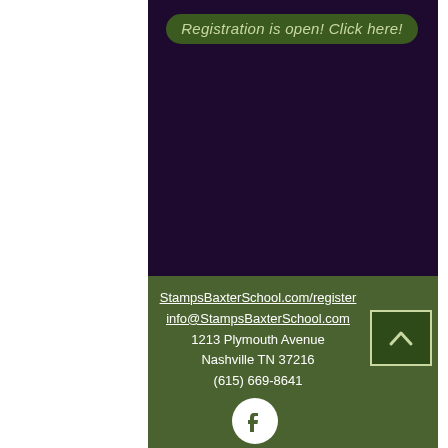Registration is open! Click here!
StampsBaxterSchool.com/register
info@StampsBaxterSchool.com
1213 Plymouth Avenue
Nashville TN 37216
(615) 669-8641
[Figure (logo): Facebook logo circle icon]
[Figure (other): Scroll to top arrow button]